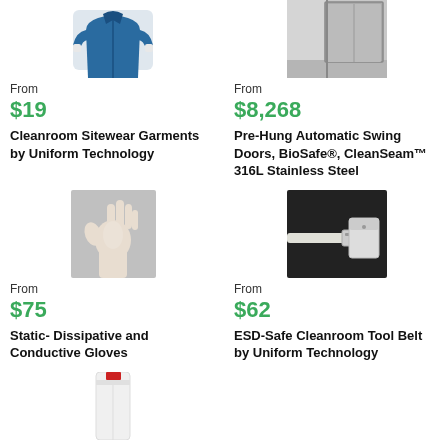[Figure (photo): Cleanroom blue sitewear garment (jacket/coat) shown from front]
From
$19
Cleanroom Sitewear Garments by Uniform Technology
[Figure (photo): Pre-hung automatic swing door in stainless steel, shown in corner of room]
From
$8,268
Pre-Hung Automatic Swing Doors, BioSafe®, CleanSeam™ 316L Stainless Steel
[Figure (photo): Hand wearing a transparent static-dissipative glove]
From
$75
Static- Dissipative and Conductive Gloves
[Figure (photo): ESD-safe cleanroom tool belt with pouch against dark background]
From
$62
ESD-Safe Cleanroom Tool Belt by Uniform Technology
[Figure (photo): White cleanroom garment/pants partially visible at bottom of page]